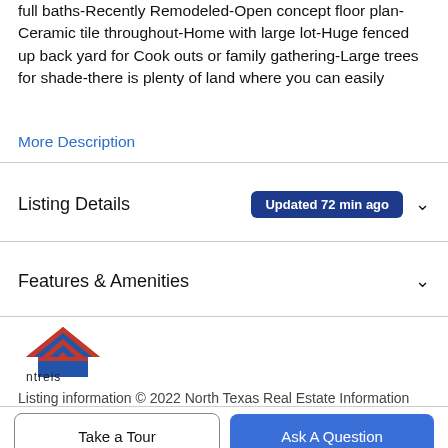full baths-Recently Remodeled-Open concept floor plan-Ceramic tile throughout-Home with large lot-Huge fenced up back yard for Cook outs or family gathering-Large trees for shade-there is plenty of land where you can easily
More Description
Listing Details  Updated 72 min ago
Features & Amenities
[Figure (logo): NTREIS logo — stylized house/roof shape with red/blue stripes, text 'ntreis' below]
Listing information © 2022 North Texas Real Estate Information System.
Take a Tour
Ask A Question